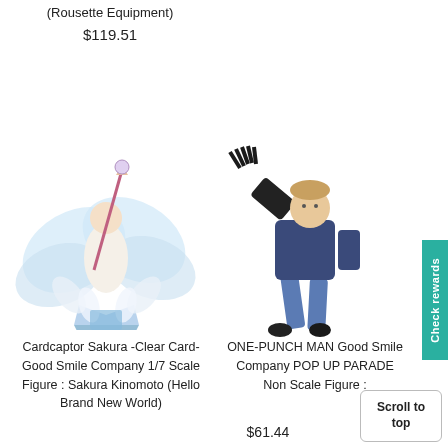(Rousette Equipment)
$119.51
[Figure (photo): Cardcaptor Sakura anime figure with white feathered wings and staff, on crystal base]
[Figure (photo): ONE-PUNCH MAN Genos figure in action pose wearing jeans and dark jacket with mechanical arm]
Cardcaptor Sakura -Clear Card- Good Smile Company 1/7 Scale Figure : Sakura Kinomoto (Hello Brand New World)
ONE-PUNCH MAN Good Smile Company POP UP PARADE Non Scale Figure :
$61.44
Check rewards
Scroll to top